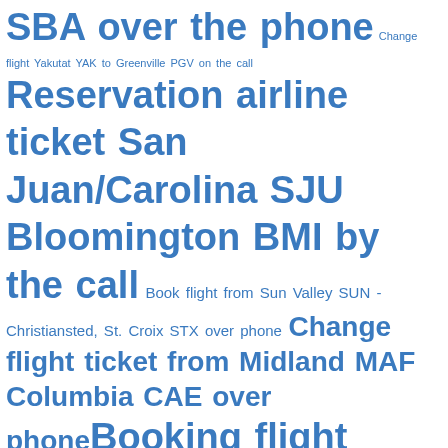SBA over the phone Change flight Yakutat YAK to Greenville PGV on the call Reservation airline ticket San Juan/Carolina SJU Bloomington BMI by the call Book flight from Sun Valley SUN - Christiansted, St. Croix STX over phone Change flight ticket from Midland MAF Columbia CAE over phone Booking flight ticket from South Bend SBN - Tucson TUS by call Booking airline ticket from Casper CPR - Laramie LAR by phone Change airline from Belleville BLV to Williston XWA over the phone Booking flight ticket Philadelphia PHL to Midland MAF on the phone Change ticket airline from Cleveland CLE - Butte BTM over phone